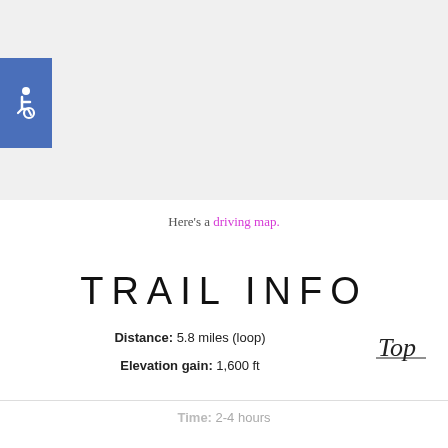[Figure (photo): Gray placeholder image area with a blue accessibility (wheelchair) badge icon on the left side]
Here's a driving map.
TRAIL INFO
Distance: 5.8 miles (loop)
Elevation gain: 1,600 ft
[Figure (illustration): Cursive handwritten 'Top' link/button in the lower right]
Time: 2-4 hours